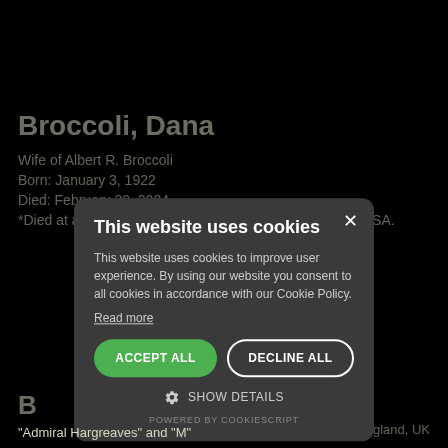Broccoli, Dana
Wife of Albert R. Broccoli
Born: January 3, 1922
Died: February 29, 2004
*Died at age 82 from cancer in Los Angeles, California, USA.
B
Au
Bo
D
*D   London, England, UK
[Figure (screenshot): Cookie consent modal dialog with title 'This website uses cookies', body text about cookie usage and Cookie Policy, 'Read more' link, ACCEPT ALL (green) and DECLINE ALL (outlined) buttons, SHOW DETAILS with gear icon, and POWERED BY COOKIESCRIPT footer. Modal has dark gray background with rounded corners and a close X button.]
"Admiral Hargreaves" and "M"